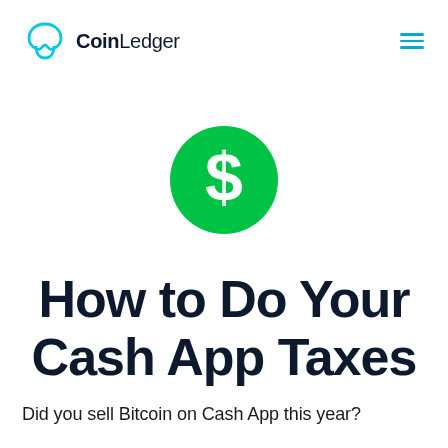CoinLedger
[Figure (logo): Green circle with white dollar sign — Cash App logo]
How to Do Your Cash App Taxes
Did you sell Bitcoin on Cash App this year?